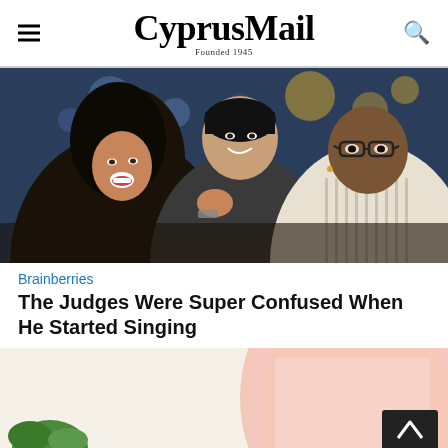CyprusMail — Founded 1945
[Figure (photo): Three people on a TV show set — a woman with dark hair laughing, a man in a dark shirt smiling behind her, and a man in a striped shirt wearing glasses, all interacting on stage with bokeh lights in the background.]
Brainberries
The Judges Were Super Confused When He Started Singing
[Figure (photo): A person in a light pink outfit shot from behind, showing the lower body, with a plant visible in the lower left and a scroll-to-top button overlay on the right side.]